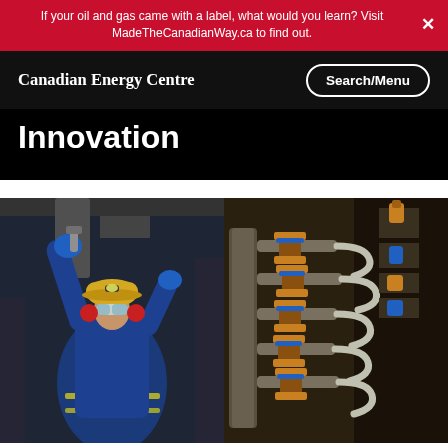If your oil and gas came with a label, what would you learn? Visit MadeTheCanadianWay.ca to find out.
Canadian Energy Centre
Innovation
[Figure (photo): Composite photo: left side shows an oil and gas worker in blue coveralls, yellow hard hat, safety goggles, and red ear protection, working overhead with blue gloves in an industrial facility. Right side shows industrial pipes and valves with yellow handles against a metallic panel.]